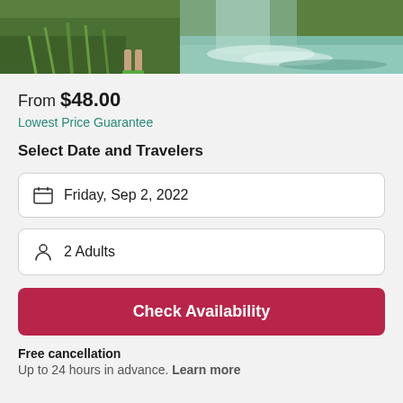[Figure (photo): Scenic waterfall with lush green vegetation and a person standing near the water]
From $48.00
Lowest Price Guarantee
Select Date and Travelers
Friday, Sep 2, 2022
2 Adults
Check Availability
Free cancellation
Up to 24 hours in advance. Learn more